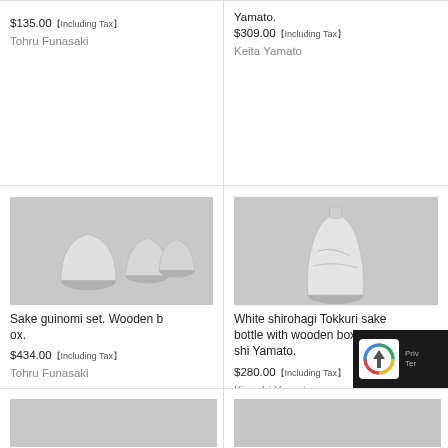$135.00【Including Tax】
Tohru Funasaki
Yamato.
$309.00【Including Tax】
Keita Yamato
[Figure (photo): Ceramic sake guinomi set with wooden box — three small white ceramic cups with angular forms on a grey background]
Sake guinomi set. Wooden box.
$434.00【Including Tax】
Tohru Funasaki
[Figure (photo): White shirohagi tokkuri sake bottle with rough textured surface on a grey background]
White shirohagi Tokkuri sake bottle with wooden box. Kiyoshi Yamato.
$280.00【Including Tax】
Kiyoshi Yamato
[Figure (photo): Partially visible product image at bottom left — light grey background]
[Figure (photo): Partially visible product image at bottom right — light grey background]